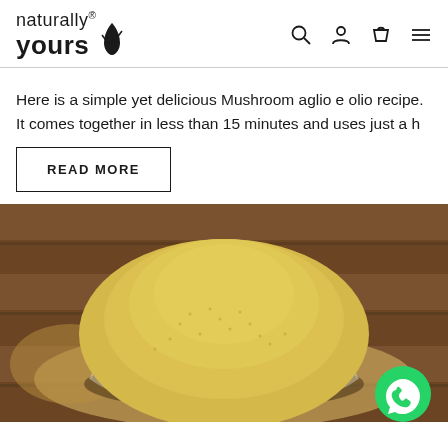naturally yours® [logo with grass icon] [search icon] [account icon] [cart icon] [menu icon]
Here is a simple yet delicious Mushroom aglio e olio recipe. It comes together in less than 15 minutes and uses just a h
READ MORE
[Figure (photo): A glass bowl filled with a mound of yellow millet grains sitting on a burlap cloth on a wooden surface, with a WhatsApp button in the bottom right corner]